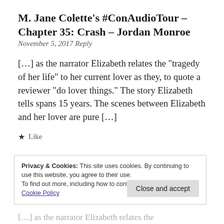M. Jane Colette's #ConAudioTour – Chapter 35: Crash – Jordan Monroe
November 5, 2017 Reply
[…] as the narrator Elizabeth relates the “tragedy of her life” to her current lover as they, to quote a reviewer “do lover things.” The story Elizabeth tells spans 15 years. The scenes between Elizabeth and her lover are pure […]
★ Like
Privacy & Cookies: This site uses cookies. By continuing to use this website, you agree to their use.
To find out more, including how to control cookies, see here:
Cookie Policy
[…] as the narrator Elizabeth relates the